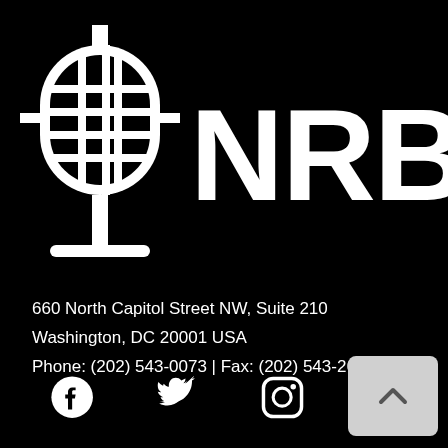[Figure (logo): NRB logo: white microphone icon with grid pattern on black background, with large white bold text 'NRB' to the right]
660 North Capitol Street NW, Suite 210
Washington, DC 20001 USA
Phone: (202) 543-0073 | Fax: (202) 543-2649
[Figure (infographic): Social media icons row: Facebook, Twitter, Instagram, YouTube — white icons on black background, plus a scroll-to-top button at far right]